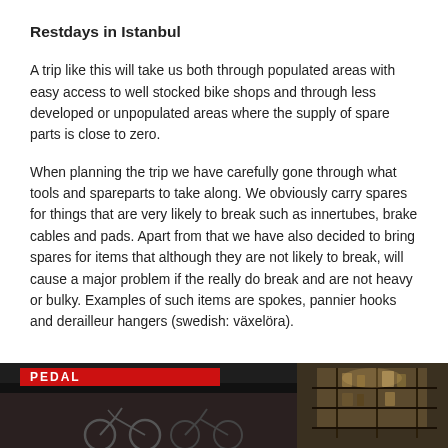Restdays in Istanbul
A trip like this will take us both through populated areas with easy access to well stocked bike shops and through less developed or unpopulated areas where the supply of spare parts is close to zero.
When planning the trip we have carefully gone through what tools and spareparts to take along. We obviously carry spares for things that are very likely to break such as innertubes, brake cables and pads. Apart from that we have also decided to bring spares for items that although they are not likely to break, will cause a major problem if the really do break and are not heavy or bulky. Examples of such items are spokes, pannier hooks and derailleur hangers (swedish: växelöra).
[Figure (photo): Two photos side by side at bottom: left photo shows a bike shop exterior with a red 'PEDAL' sign and bicycle silhouettes; right photo shows a dimly lit interior of what appears to be a bike shop with shelves and equipment.]